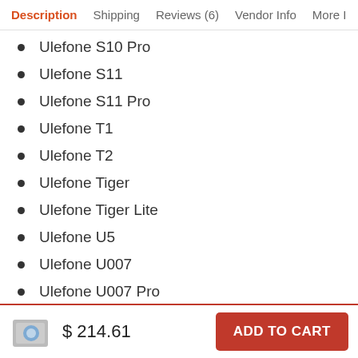Description  Shipping  Reviews (6)  Vendor Info  More
Ulefone S10 Pro
Ulefone S11
Ulefone S11 Pro
Ulefone T1
Ulefone T2
Ulefone Tiger
Ulefone Tiger Lite
Ulefone U5
Ulefone U007
Ulefone U007 Pro
Ulefone U7
$ 214.61  ADD TO CART